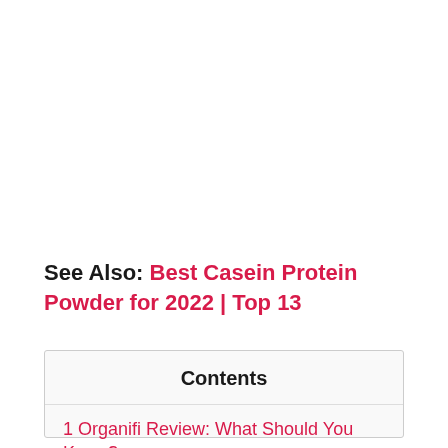See Also: Best Casein Protein Powder for 2022 | Top 13
Contents
1 Organifi Review: What Should You Know?